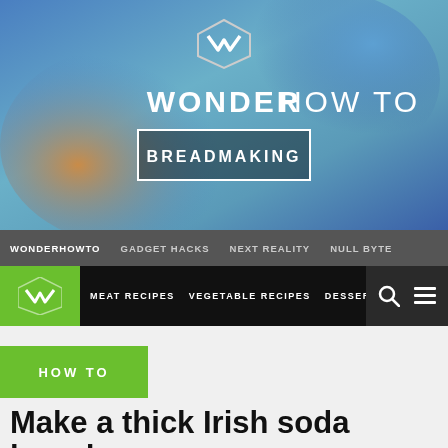[Figure (logo): Wonder How To hero banner with logo, title, and BREADMAKING button on colorful gradient background]
WONDERHOWTO   GADGET HACKS   NEXT REALITY   NULL BYTE
MEAT RECIPES   VEGETABLE RECIPES   DESSERT RECI...
HOW TO
Make a thick Irish soda bread